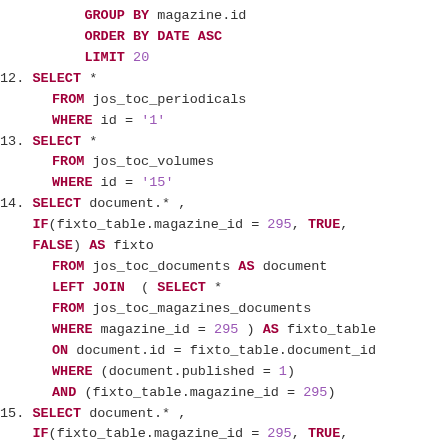SQL code block showing queries 12-15 with GROUP BY, ORDER BY, LIMIT, SELECT, FROM, WHERE, LEFT JOIN, IF, AS, ON, AND clauses
[Figure (screenshot): SQL code listing numbered queries 12 through 15 with syntax highlighting: keywords in dark red/bold, string/number literals in purple, plain identifiers in dark gray, on white background.]